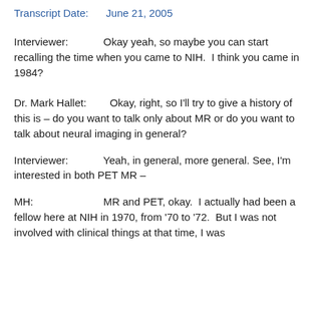Transcript Date:    June 21, 2005
Interviewer:          Okay yeah, so maybe you can start recalling the time when you came to NIH.  I think you came in 1984?
Dr. Mark Hallet:      Okay, right, so I'll try to give a history of this is – do you want to talk only about MR or do you want to talk about neural imaging in general?
Interviewer:          Yeah, in general, more general. See, I'm interested in both PET MR –
MH:                   MR and PET, okay.  I actually had been a fellow here at NIH in 1970, from '70 to '72.  But I was not involved with clinical things at that time, I was